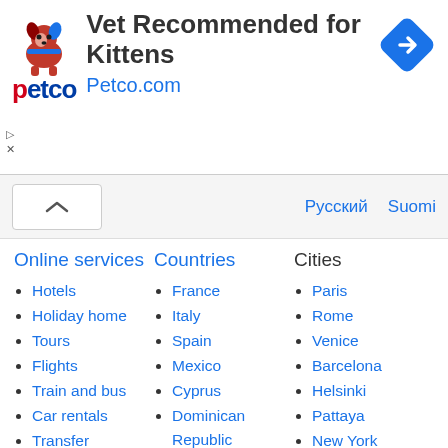[Figure (infographic): Petco advertisement banner: Petco logo with dog/cat mascot, headline 'Vet Recommended for Kittens', URL 'Petco.com', blue diamond arrow icon]
Online services
Countries
Cities
Hotels
Holiday home
Tours
Flights
Train and bus
Car rentals
Transfer
Cruises
🏳 Qatar
France
Italy
Spain
Mexico
Cyprus
Dominican Republic
Maldives
Turkey
Thailand
Finland
Russia
Paris
Rome
Venice
Barcelona
Helsinki
Pattaya
New York
Miami
Prague
Moscow
St. Petersburg